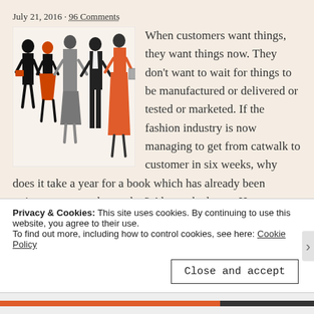July 21, 2016 · 96 Comments
[Figure (illustration): Fashion illustration showing five stylized figures: silhouettes of women and a man in elegant outfits, one woman in orange dress]
When customers want things, they want things now. They don't want to wait for things to be manufactured or delivered or tested or marketed. If the fashion industry is now managing to get from catwalk to customer in six weeks, why does it take a year for a book which has already been written to get on the market? Also, naked men. Honest.
Read more →
Privacy & Cookies: This site uses cookies. By continuing to use this website, you agree to their use.
To find out more, including how to control cookies, see here: Cookie Policy
Close and accept